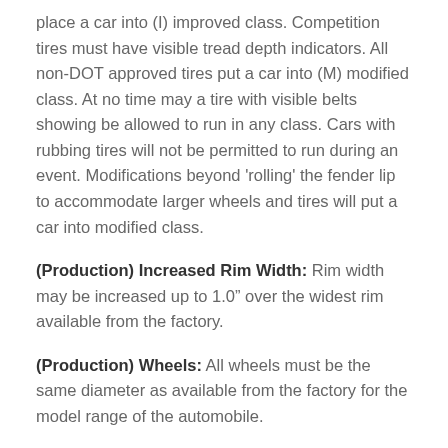place a car into (I) improved class. Competition tires must have visible tread depth indicators. All non-DOT approved tires put a car into (M) modified class. At no time may a tire with visible belts showing be allowed to run in any class. Cars with rubbing tires will not be permitted to run during an event. Modifications beyond 'rolling' the fender lip to accommodate larger wheels and tires will put a car into modified class.
(Production) Increased Rim Width: Rim width may be increased up to 1.0" over the widest rim available from the factory.
(Production) Wheels: All wheels must be the same diameter as available from the factory for the model range of the automobile.